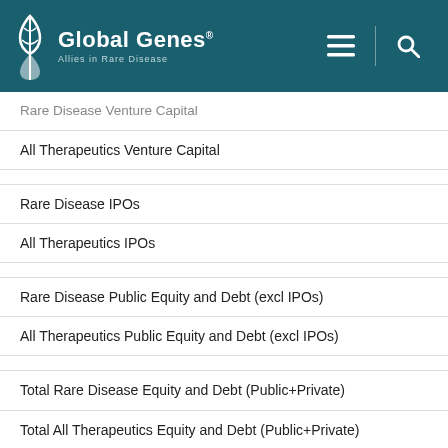Global Genes® — Allies in Rare Disease
Rare Disease Venture Capital
All Therapeutics Venture Capital
Rare Disease IPOs
All Therapeutics IPOs
Rare Disease Public Equity and Debt (excl IPOs)
All Therapeutics Public Equity and Debt (excl IPOs)
Total Rare Disease Equity and Debt (Public+Private)
Total All Therapeutics Equity and Debt (Public+Private)
RD Partnering Deal Value at Signing
All Therapeutics Partnering Value at Signing
RD Partnering Total Potential Deal Value
All Therapeutics Total Potential Deal Value